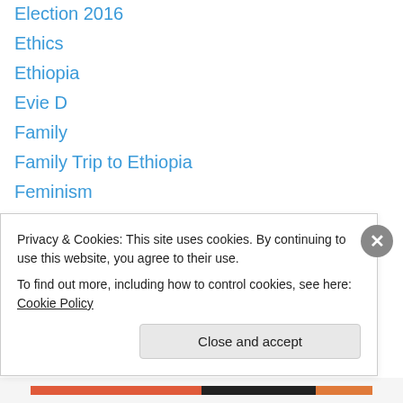Election 2016
Ethics
Ethiopia
Evie D
Family
Family Trip to Ethiopia
Feminism
Fitness
Foster Care
Friends
Giveaways
God
Hair
Haiti
Privacy & Cookies: This site uses cookies. By continuing to use this website, you agree to their use. To find out more, including how to control cookies, see here: Cookie Policy